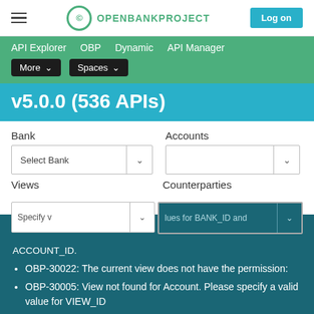OPENBANKPROJECT | Log on
API Explorer  OBP  Dynamic  API Manager  More ▾  Spaces ▾
v5.0.0 (536 APIs)
Bank  Accounts  Select Bank  Views  Counterparties
Specify values for BANK_ID and ACCOUNT_ID.
OBP-30022: The current view does not have the permission:
OBP-30005: View not found for Account. Please specify a valid value for VIEW_ID